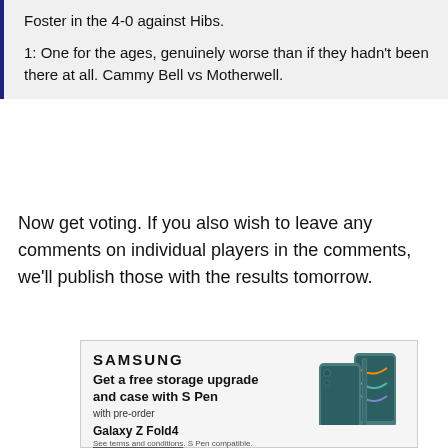Foster in the 4-0 against Hibs.
1: One for the ages, genuinely worse than if they hadn't been there at all. Cammy Bell vs Motherwell.
Now get voting. If you also wish to leave any comments on individual players in the comments, we'll publish those with the results tomorrow.
[Figure (infographic): Samsung advertisement: Get a free storage upgrade and case with S Pen with pre-order. Galaxy Z Fold4. See terms and conditions. S Pen compatible.]